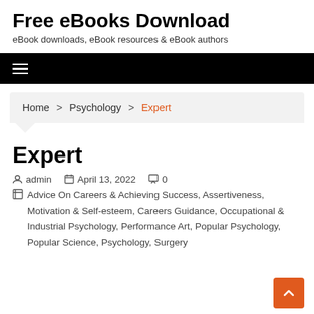Free eBooks Download
eBook downloads, eBook resources & eBook authors
[Figure (other): Black navigation bar with hamburger menu icon]
Home > Psychology > Expert
Expert
admin  April 13, 2022  0
Advice On Careers & Achieving Success, Assertiveness, Motivation & Self-esteem, Careers Guidance, Occupational & Industrial Psychology, Performance Art, Popular Psychology, Popular Science, Psychology, Surgery